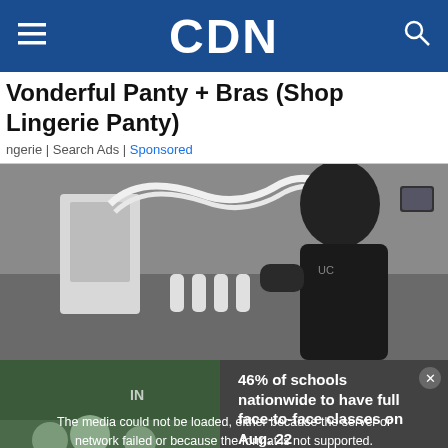CDN
Vonderful Panty + Bras (Shop Lingerie Panty)
ngerie | Search Ads | Sponsored
[Figure (photo): Person in black shirt operating a medical/beauty device with white tubes and attachments]
[Figure (screenshot): Video overlay showing error message: The media could not be loaded, either because the server or network failed or because the format is not supported. Right side shows text: 46% of schools nationwide to have full face-to-face classes on Aug. 22. Bottom shows X close button.]